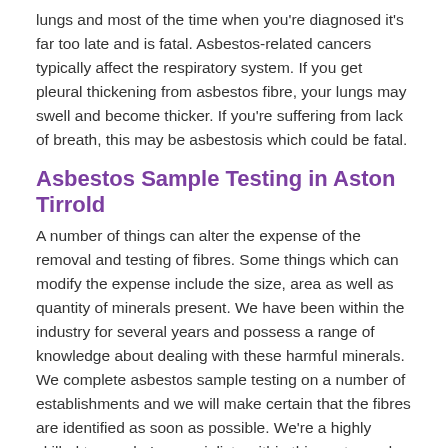lungs and most of the time when you're diagnosed it's far too late and is fatal. Asbestos-related cancers typically affect the respiratory system. If you get pleural thickening from asbestos fibre, your lungs may swell and become thicker. If you're suffering from lack of breath, this may be asbestosis which could be fatal.
Asbestos Sample Testing in Aston Tirrold
A number of things can alter the expense of the removal and testing of fibres. Some things which can modify the expense include the size, area as well as quantity of minerals present. We have been within the industry for several years and possess a range of knowledge about dealing with these harmful minerals. We complete asbestos sample testing on a number of establishments and we will make certain that the fibres are identified as soon as possible. We're a highly skilled team who're specialists within this sector and we understand everything there is to know concerning the fibre. If you feel it's in an environment, there is no point putting things off and not calling someone since this may make it worse. Since there are numerous problems, it's essential to have the issue fixed. Simply talk to our team and we'll be pleased to help discuss the problem with you. All you have to do is complete the enquiry